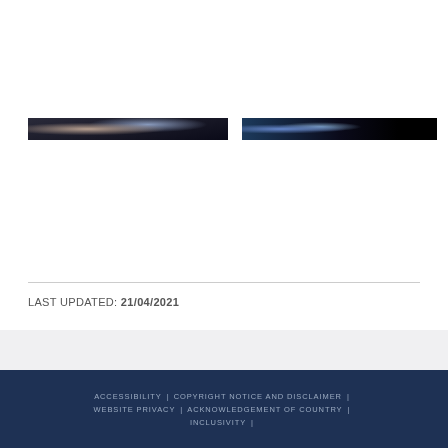[Figure (photo): Two side-by-side cropped photo thumbnails, darkened/redacted. Left photo shows dim scene with partial figures, right photo shows dark scene with partial light blue and black area.]
LAST UPDATED: 21/04/2021
ACCESSIBILITY | COPYRIGHT NOTICE AND DISCLAIMER | WEBSITE PRIVACY | ACKNOWLEDGEMENT OF COUNTRY | INCLUSIVITY |